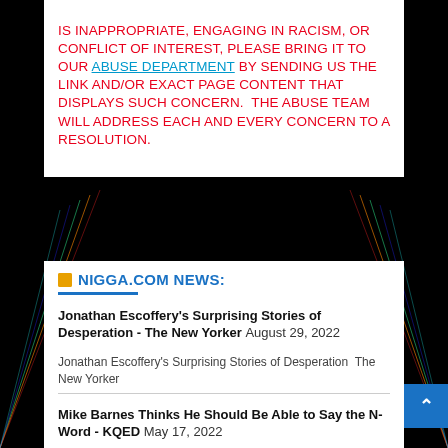IS INAPPROPRIATE, ENGAGING IN RACISM, OR CONFLICT OF INTEREST, PLEASE BRING IT TO OUR ABUSE DEPARTMENT BY SENDING US THE LINK AND/OR EXACT PAGE CONTENT THAT DISPLAYS SUCH CONCERN.  THE ABUSE TEAM WILL ADDRESS EACH AND EVERY CONCERN TO A RESOLUTION.
NIGGA.COM NEWS:
Jonathan Escoffery's Surprising Stories of Desperation - The New Yorker August 29, 2022
Jonathan Escoffery's Surprising Stories of Desperation  The New Yorker
Mike Barnes Thinks He Should Be Able to Say the N-Word - KQED May 17, 2022
Mike Barnes Thinks He Should Be Able to Say the N-